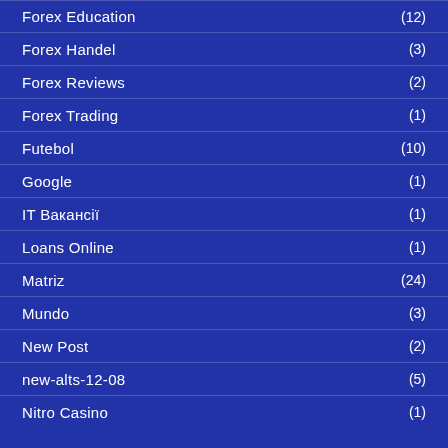Forex Education (12)
Forex Handel (3)
Forex Reviews (2)
Forex Trading (1)
Futebol (10)
Google (1)
IT Вакансії (1)
Loans Online (1)
Matriz (24)
Mundo (3)
New Post (2)
new-alts-12-08 (5)
Nitro Casino (1)